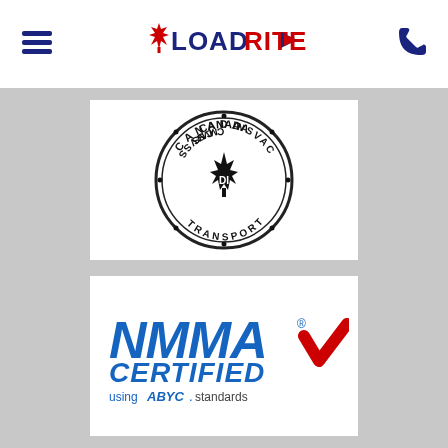LoadRite - Navigation header with menu and phone icons
[Figure (logo): Canada Transport CMVSS NSVAC DI certification seal - circular badge with maple leaf center and text reading CANADA, CMVSS, NSVAC, TRANSPORT, DI around the border]
[Figure (logo): NMMA Certified logo with red checkmark and text reading 'using ABYC standards']
[Figure (logo): Partial view of another certification logo - National Association, partially visible at bottom of page]